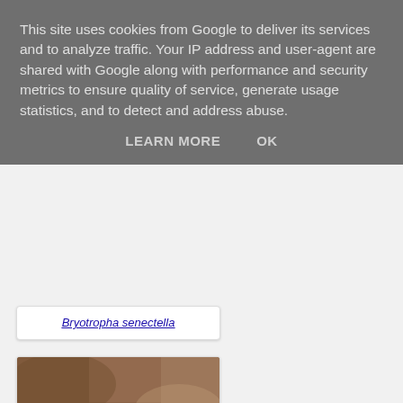This site uses cookies from Google to deliver its services and to analyze traffic. Your IP address and user-agent are shared with Google along with performance and security metrics to ensure quality of service, generate usage statistics, and to detect and address abuse.
LEARN MORE    OK
Bryotropha senectella
[Figure (photo): Close-up photograph of a moth (Rhyacionia pinicolana) resting on bark or leaf litter, showing orange-brown wings with white/cream striped pattern]
Rhyacionia pinicolana